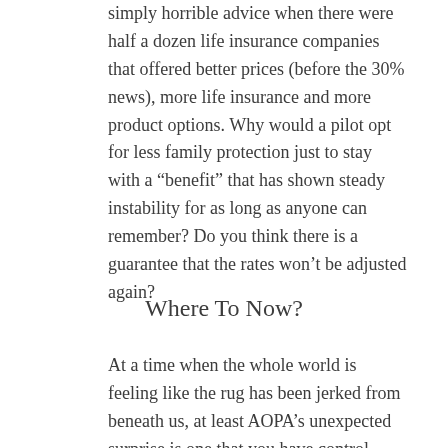simply horrible advice when there were half a dozen life insurance companies that offered better prices (before the 30% news), more life insurance and more product options. Why would a pilot opt for less family protection just to stay with a “benefit” that has shown steady instability for as long as anyone can remember? Do you think there is a guarantee that the rates won’t be adjusted again?
Where To Now?
At a time when the whole world is feeling like the rug has been jerked from beneath us, at least AOPA’s unexpected surprise is one that you have control over. As an independent agent helping private and commercial pilots for 20 years, I am strongly suggesting that it is time to find out what